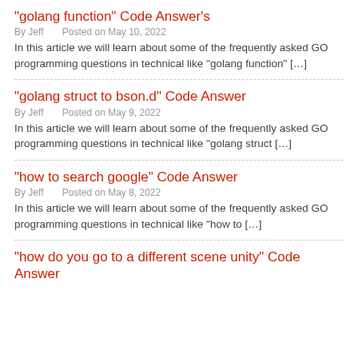“golang function” Code Answer’s
By Jeff   Posted on May 10, 2022
In this article we will learn about some of the frequently asked GO programming questions in technical like “golang function” […]
“golang struct to bson.d” Code Answer
By Jeff   Posted on May 9, 2022
In this article we will learn about some of the frequently asked GO programming questions in technical like “golang struct […]
“how to search google” Code Answer
By Jeff   Posted on May 8, 2022
In this article we will learn about some of the frequently asked GO programming questions in technical like “how to […]
“how do you go to a different scene unity” Code Answer